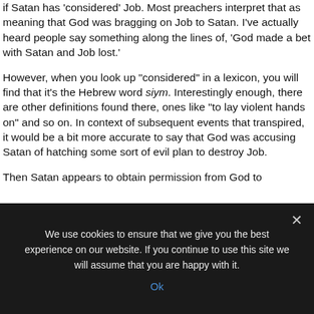if Satan has 'considered' Job. Most preachers interpret that as meaning that God was bragging on Job to Satan. I've actually heard people say something along the lines of, 'God made a bet with Satan and Job lost.'
However, when you look up "considered" in a lexicon, you will find that it's the Hebrew word siym. Interestingly enough, there are other definitions found there, ones like "to lay violent hands on" and so on. In context of subsequent events that transpired, it would be a bit more accurate to say that God was accusing Satan of hatching some sort of evil plan to destroy Job.
Then Satan appears to obtain permission from God to
We use cookies to ensure that we give you the best experience on our website. If you continue to use this site we will assume that you are happy with it.
Ok